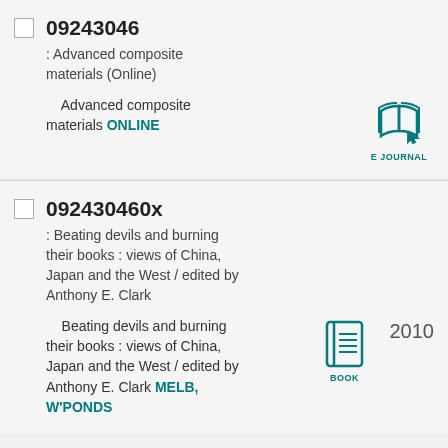09243046
: Advanced composite materials (Online)
Advanced composite materials ONLINE [EJOURNAL]
092430460x
: Beating devils and burning their books : views of China, Japan and the West / edited by Anthony E. Clark
Beating devils and burning their books : views of China, Japan and the West / edited by Anthony E. Clark MELB, W'PONDS [BOOK] 2010